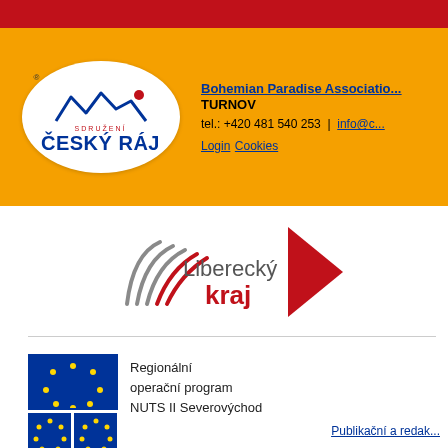[Figure (logo): Red horizontal bar at top of page]
[Figure (logo): Cesky Raj (Bohemian Paradise) association logo - white oval with mountains and text on orange background]
Bohemian Paradise Association
TURNOV
tel.: +420 481 540 253  |  info@c...
Login  Cookies
[Figure (logo): Liberecký kraj logo with curved lines and red arrow]
[Figure (logo): EU flag logos with text: Regionální operační program NUTS II Severovýchod]
Publikační a redak...